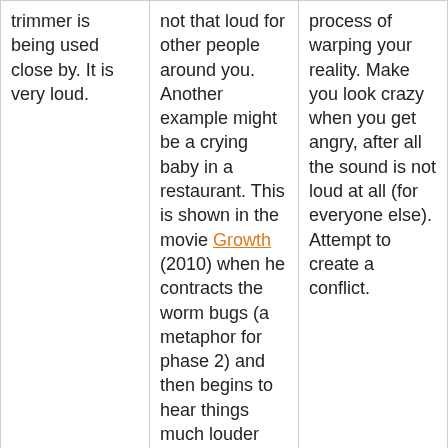| trimmer is being used close by. It is very loud. | not that loud for other people around you. Another example might be a crying baby in a restaurant. This is shown in the movie Growth (2010) when he contracts the worm bugs (a metaphor for phase 2) and then begins to hear things much louder and clearer than normal and has to put in ear plugs because of it. No clip provided. | process of warping your reality. Make you look crazy when you get angry, after all the sound is not loud at all (for everyone else). Attempt to create a conflict. |
| You buy something and mail a check to | In some capacity the first cheque | To show that the handler is in |